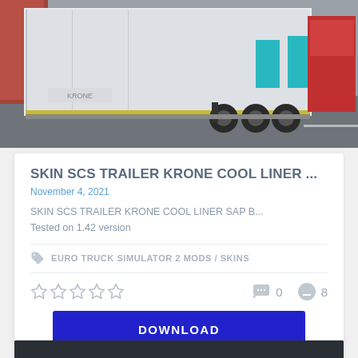[Figure (photo): Screenshot of a Krone Cool Liner trailer from Euro Truck Simulator 2, showing a white refrigerated trailer with cyan/teal accent detail, on a road, viewed from behind-side angle with a red truck cab visible in background.]
SKIN SCS TRAILER KRONE COOL LINER ...
November 4, 2021
SKIN SCS TRAILER KRONE COOL LINER SAP B...
Tested on 1.42 version
EURO TRUCK SIMULATOR 2 MODS / SKINS
★★★★★  0  8
DOWNLOAD